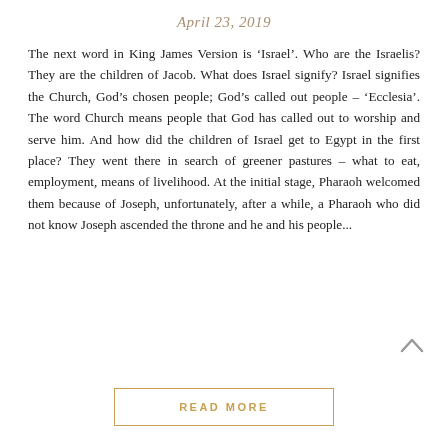April 23, 2019
The next word in King James Version is ‘Israel’. Who are the Israelis? They are the children of Jacob. What does Israel signify? Israel signifies the Church, God’s chosen people; God’s called out people – ‘Ecclesia’. The word Church means people that God has called out to worship and serve him. And how did the children of Israel get to Egypt in the first place? They went there in search of greener pastures – what to eat, employment, means of livelihood. At the initial stage, Pharaoh welcomed them because of Joseph, unfortunately, after a while, a Pharaoh who did not know Joseph ascended the throne and he and his people...
READ MORE